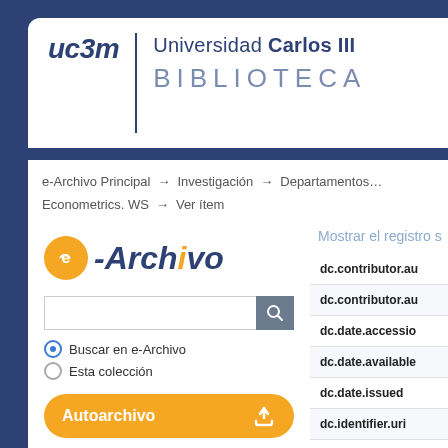[Figure (logo): UC3M Universidad Carlos III de Madrid - Biblioteca logo with orange e-Archivo branding]
e-Archivo Principal → Investigación → Departamentos… Econometrics. WS → Ver ítem
[Figure (screenshot): e-Archivo search interface with logo, search box, radio buttons for Buscar en e-Archivo / Esta colección, Autoarchivo button, and Guía de Autoarchivo link]
Mostrar el registro s
| Field |
| --- |
| dc.contributor.au |
| dc.contributor.au |
| dc.date.accessio |
| dc.date.available |
| dc.date.issued |
| dc.identifier.uri |
| dc.description.al |